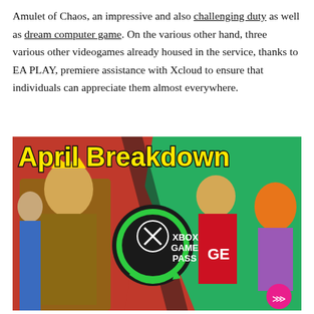Amulet of Chaos, an impressive and also challenging duty as well as dream computer game. On the various other hand, three various other videogames already housed in the service, thanks to EA PLAY, premiere assistance with Xcloud to ensure that individuals can appreciate them almost everywhere.
[Figure (photo): Xbox Game Pass April Breakdown promotional image featuring game characters and the Xbox Game Pass logo with a green arrow design on a red background. Bold yellow text reads 'April Breakdown' at the top.]